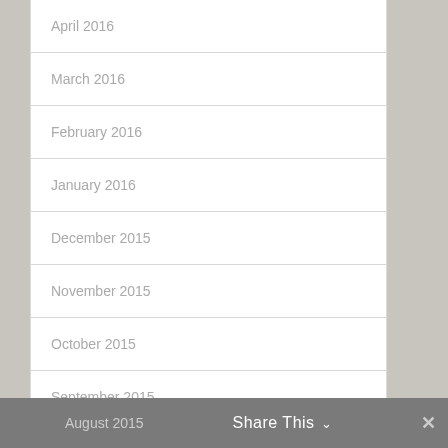April 2016
March 2016
February 2016
January 2016
December 2015
November 2015
October 2015
September 2015
August 2015   Share This ∨   ✕